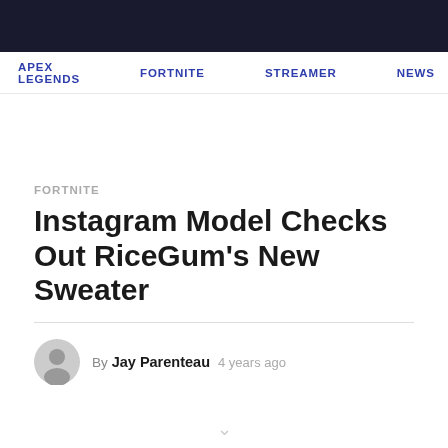APEX LEGENDS  FORTNITE  STREAMER  NEWS
FORTNITE
Instagram Model Checks Out RiceGum's New Sweater
By Jay Parenteau  4 years ago